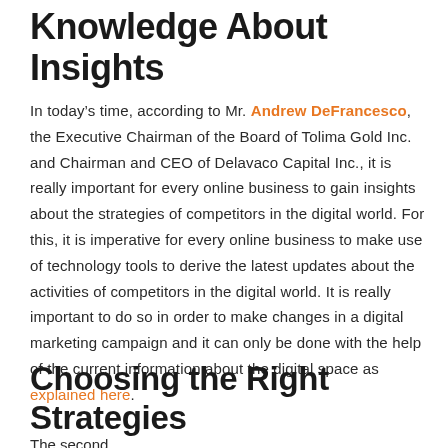Knowledge About Insights
In today’s time, according to Mr. Andrew DeFrancesco, the Executive Chairman of the Board of Tolima Gold Inc. and Chairman and CEO of Delavaco Capital Inc., it is really important for every online business to gain insights about the strategies of competitors in the digital world. For this, it is imperative for every online business to make use of technology tools to derive the latest updates about the activities of competitors in the digital world. It is really important to do so in order to make changes in a digital marketing campaign and it can only be done with the help of the current information about the digital space as explained here.
Choosing the Right Strategies
The second...